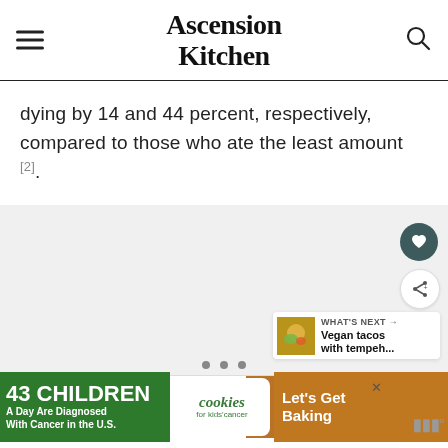Ascension Kitchen
dying by 14 and 44 percent, respectively, compared to those who ate the least amount [2].
[Figure (other): Gray image area with UI overlay buttons (heart/favorite button, share button), a 'What's Next' panel showing Vegan tacos with tempeh..., and three dot indicators at the bottom]
[Figure (other): Advertisement banner: '43 Children A Day Are Diagnosed With Cancer in the U.S.' cookies for kids cancer 'Let's Get Baking']